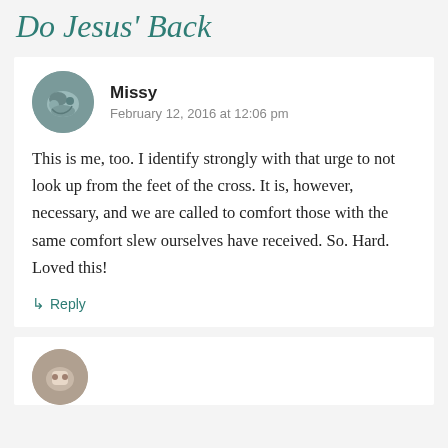Do Jesus' Back
Missy
February 12, 2016 at 12:06 pm

This is me, too. I identify strongly with that urge to not look up from the feet of the cross. It is, however, necessary, and we are called to comfort those with the same comfort slew ourselves have received. So. Hard. Loved this!

↳ Reply